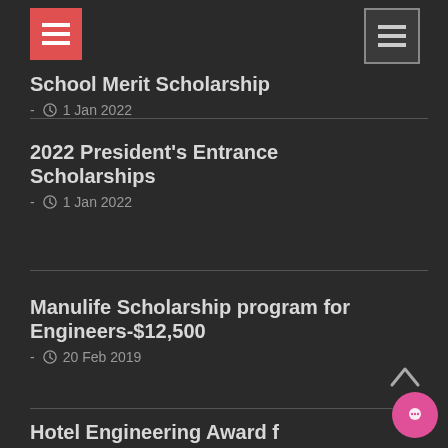[Figure (other): Red hamburger/menu icon button at top left]
[Figure (other): Dark hamburger/menu icon button at top right]
School Merit Scholarship
- 🕐 1 Jan 2022
2022 President's Entrance Scholarships
- 🕐 1 Jan 2022
Manulife Scholarship program for Engineers-$12,500
- 🕐 20 Feb 2019
Hotel Engineering Award f…